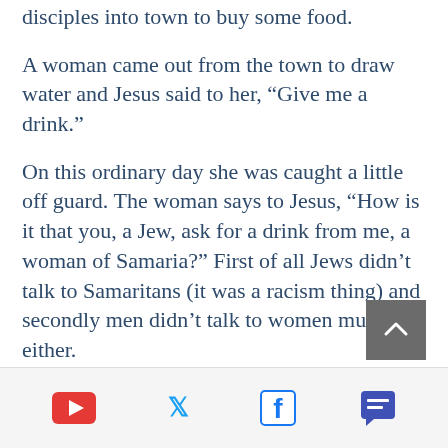disciples into town to buy some food.
A woman came out from the town to draw water and Jesus said to her, “Give me a drink.”
On this ordinary day she was caught a little off guard. The woman says to Jesus, “How is it that you, a Jew, ask for a drink from me, a woman of Samaria?” First of all Jews didn’t talk to Samaritans (it was a racism thing) and secondly men didn’t talk to women much either.
But Jesus said to her, “If you knew the gift of God, and who it is that is
[Figure (other): Social media share bar with YouTube, Twitter, Facebook, and comment icons]